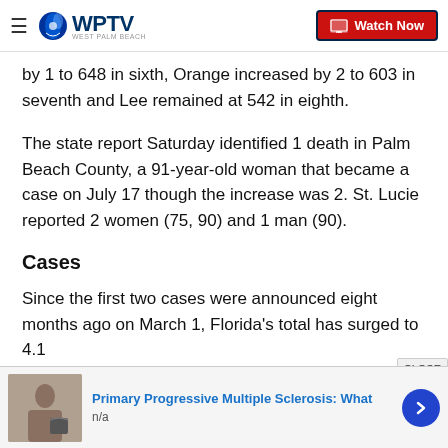WPTV — Watch Now
by 1 to 648 in sixth, Orange increased by 2 to 603 in seventh and Lee remained at 542 in eighth.
The state report Saturday identified 1 death in Palm Beach County, a 91-year-old woman that became a case on July 17 though the increase was 2. St. Lucie reported 2 women (75, 90) and 1 man (90).
Cases
Since the first two cases were announced eight months ago on March 1, Florida's total has surged to 4.1
Primary Progressive Multiple Sclerosis: What — n/a